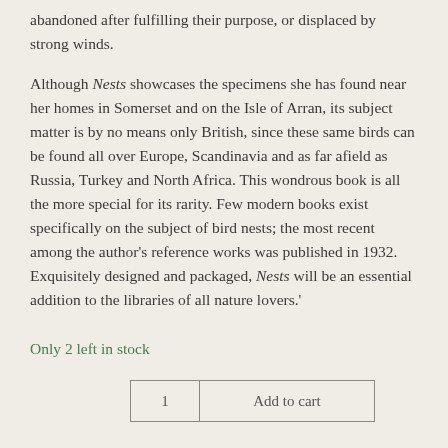abandoned after fulfilling their purpose, or displaced by strong winds.
Although Nests showcases the specimens she has found near her homes in Somerset and on the Isle of Arran, its subject matter is by no means only British, since these same birds can be found all over Europe, Scandinavia and as far afield as Russia, Turkey and North Africa. This wondrous book is all the more special for its rarity. Few modern books exist specifically on the subject of bird nests; the most recent among the author's reference works was published in 1932. Exquisitely designed and packaged, Nests will be an essential addition to the libraries of all nature lovers.'
Only 2 left in stock
1  Add to cart